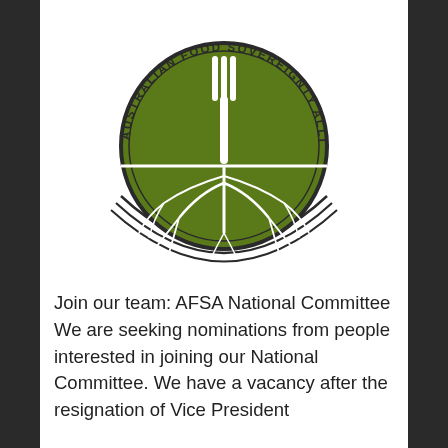[Figure (logo): Australian Food Sovereignty Alliance circular logo with a fork above a root system on a dark green background, with organization name around the circle border]
Join our team: AFSA National Committee We are seeking nominations from people interested in joining our National Committee. We have a vacancy after the resignation of Vice President